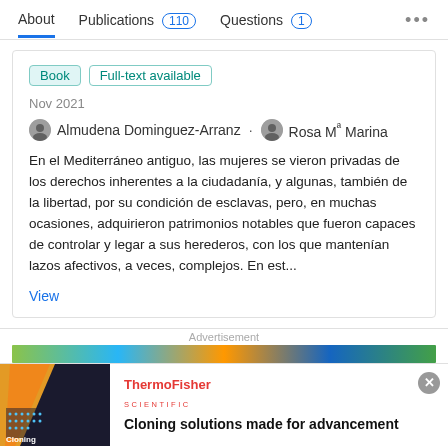About  Publications 110  Questions 1  ...
Book  Full-text available
Nov 2021
Almudena Dominguez-Arranz · Rosa Mª Marina
En el Mediterráneo antiguo, las mujeres se vieron privadas de los derechos inherentes a la ciudadanía, y algunas, también de la libertad, por su condición de esclavas, pero, en muchas ocasiones, adquirieron patrimonios notables que fueron capaces de controlar y legar a sus herederos, con los que mantenían lazos afectivos, a veces, complejos. En est...
View
Advertisement
[Figure (photo): ThermoFisher Scientific advertisement for Cloning solutions with dark background image showing Cloning text and grid dots pattern]
Cloning solutions made for advancement